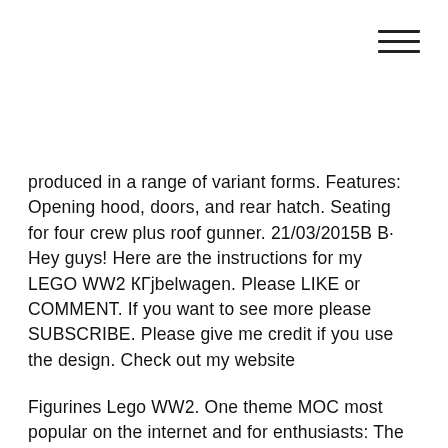[Figure (other): Hamburger menu icon — three horizontal lines in top-right corner]
produced in a range of variant forms. Features: Opening hood, doors, and rear hatch. Seating for four crew plus roof gunner. 21/03/2015В В· Hey guys! Here are the instructions for my LEGO WW2 КГјbelwagen. Please LIKE or COMMENT. If you want to see more please SUBSCRIBE. Please give me credit if you use the design. Check out my website
Figurines Lego WW2. One theme MOC most popular on the internet and for enthusiasts: The Custom WW2. This is to take up arms and uniforms of the various protagonists of the 2nd World War. It is also вЂ¦ Figurines Lego WW2.